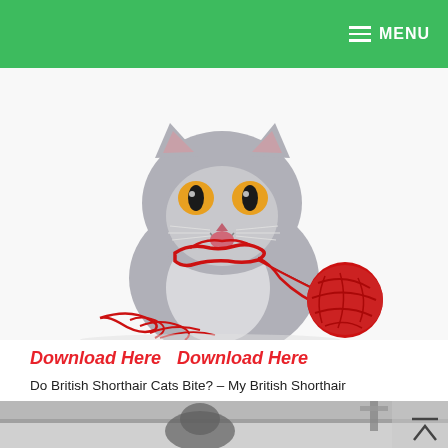MENU
[Figure (photo): A grey British Shorthair cat with bright orange eyes, mouth open, with red yarn/string tangled around its neck and a ball of red yarn beside it, on a white background.]
Download Here  Download Here
Do British Shorthair Cats Bite? – My British Shorthair
[Figure (photo): Partial view of a cat in a sink/bathroom setting, black and white photo.]